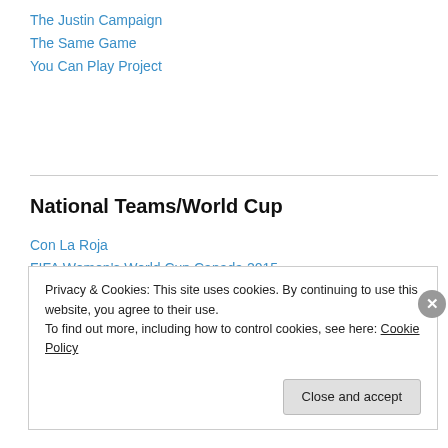The Justin Campaign
The Same Game
You Can Play Project
National Teams/World Cup
Con La Roja
FIFA Women's World Cup Canada 2015
Football España World Cup 2014 Nation Profiles
Loew's Miserables
World Cup Brazil 2014 Guide
Privacy & Cookies: This site uses cookies. By continuing to use this website, you agree to their use.
To find out more, including how to control cookies, see here: Cookie Policy